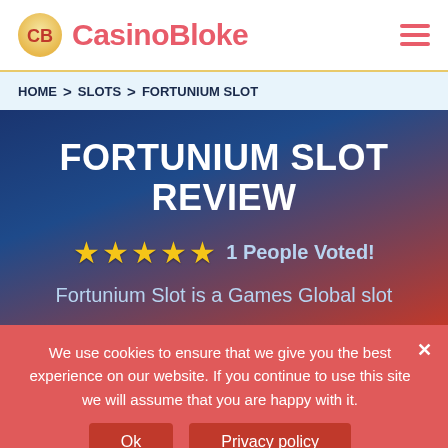CasinoBloke
HOME > SLOTS > FORTUNIUM SLOT
FORTUNIUM SLOT REVIEW
★★★★★ 1 People Voted!
Fortunium Slot is a Games Global slot
We use cookies to ensure that we give you the best experience on our website. If you continue to use this site we will assume that you are happy with it.